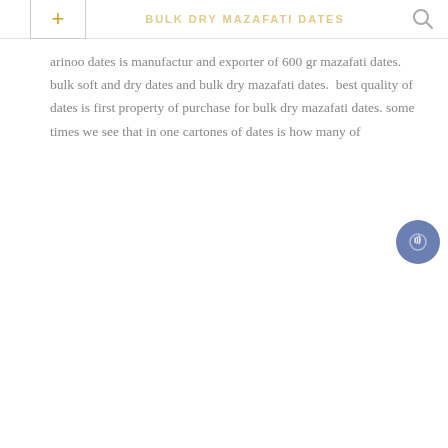BULK DRY MAZAFATI DATES
arinoo dates is manufactur and exporter of 600 gr mazafati dates. bulk soft and dry dates and bulk dry mazafati dates.  best quality of dates is first property of purchase for bulk dry mazafati dates. some times we see that in one cartones of dates is how many of